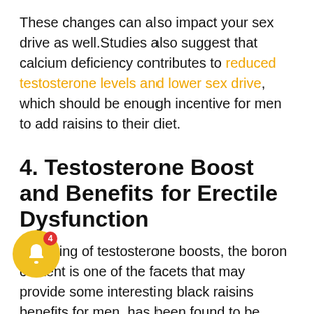These changes can also impact your sex drive as well.Studies also suggest that calcium deficiency contributes to reduced testosterone levels and lower sex drive, which should be enough incentive for men to add raisins to their diet.
4. Testosterone Boost and Benefits for Erectile Dysfunction
Speaking of testosterone boosts, the boron content is one of the facets that may provide some interesting black raisins benefits for men. has been found to be beneficial for men experiencing erectile dysfunction and low levels of testosterone.